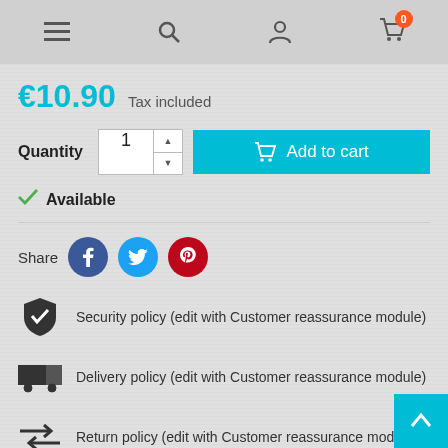Navigation bar with menu, search, account, and cart icons
€10.90  Tax included
Quantity  1  Add to cart
✓ Available
Share
Security policy (edit with Customer reassurance module)
Delivery policy (edit with Customer reassurance module)
Return policy (edit with Customer reassurance module)